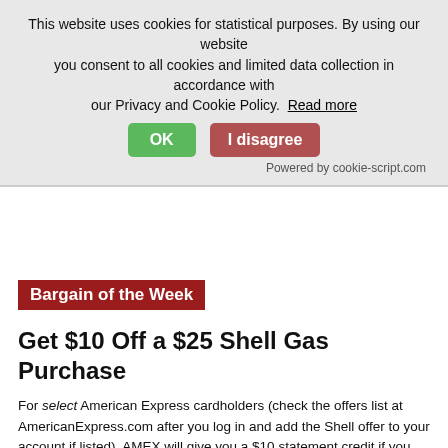This website uses cookies for statistical purposes. By using our website you consent to all cookies and limited data collection in accordance with our Privacy and Cookie Policy. Read more OK I disagree Powered by cookie-script.com
Bargain of the Week
Get $10 Off a $25 Shell Gas Purchase
For select American Express cardholders (check the offers list at AmericanExpress.com after you log in and add the Shell offer to your account if listed), AMEX will give you a $10 statement credit if you purchase $25 or more of gasoline at a Shell gas station and pay with the Shell app. Get the Shell app at the Google Play Store or Apple's App Store. You must then preconfigure the Shell app to work with a digital wallet like Google Pay, Apple Pay or Samsung Pay, and your AMEX card must be the primary card to use for payments in your wallet. Don't expect the setup process to be simple... but for $10 of